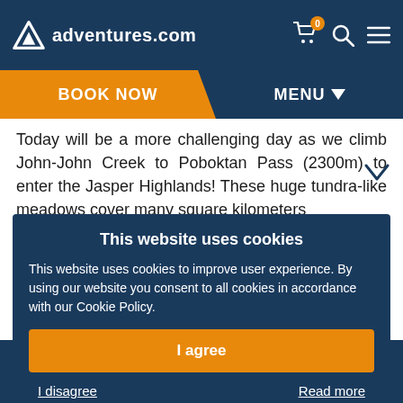adventures.com
BOOK NOW
MENU
Today will be a more challenging day as we climb John-John Creek to Poboktan Pass (2300m) to enter the Jasper Highlands! These huge tundra-like meadows cover many square kilometers and are home of the Jonas Creek mountain caribou herd. The view from
This website uses cookies
This website uses cookies to improve user experience. By using our website you consent to all cookies in accordance with our Cookie Policy.
I agree
I disagree
Read more
DAY 5 - JONAS CUTOFF CAMP - FOUR POINT CAMPGROUND
This day we'll enjoy one of the most impressive alpine traverses in the